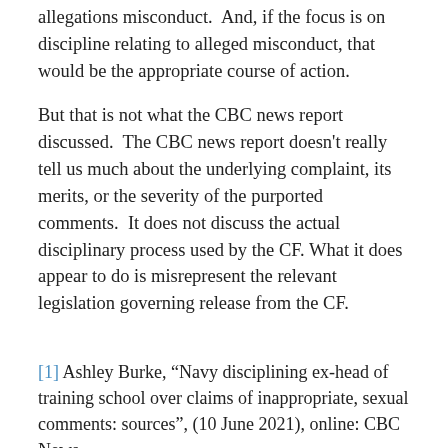allegations misconduct.  And, if the focus is on discipline relating to alleged misconduct, that would be the appropriate course of action.
But that is not what the CBC news report discussed.  The CBC news report doesn't really tell us much about the underlying complaint, its merits, or the severity of the purported comments.  It does not discuss the actual disciplinary process used by the CF.  What it does appear to do is misrepresent the relevant legislation governing release from the CF.
[1] Ashley Burke, “Navy disciplining ex-head of training school over claims of inappropriate, sexual comments: sources”, (10 June 2021), online: CBC News